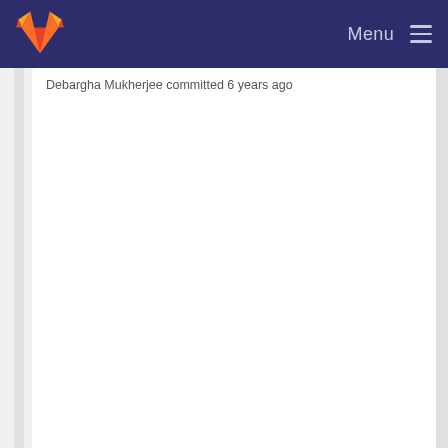Menu
Debargha Mukherjee committed 6 years ago
Port renaming changes from AOMedia
Yaowu Xu committed 5 years ago